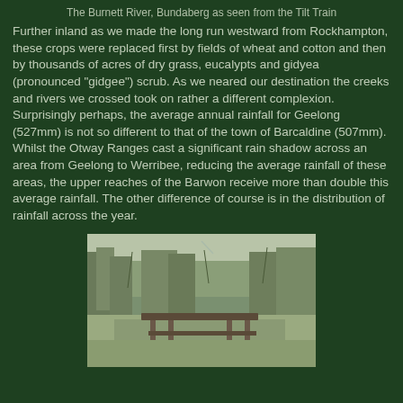The Burnett River, Bundaberg as seen from the Tilt Train
Further inland as we made the long run westward from Rockhampton, these crops were replaced first by fields of wheat and cotton and then by thousands of acres of dry grass, eucalypts and gidyea (pronounced "gidgee") scrub. As we neared our destination the creeks and rivers we crossed took on rather a different complexion. Surprisingly perhaps, the average annual rainfall for Geelong (527mm) is not so different to that of the town of Barcaldine (507mm). Whilst the Otway Ranges cast a significant rain shadow across an area from Geelong to Werribee, reducing the average rainfall of these areas, the upper reaches of the Barwon receive more than double this average rainfall. The other difference of course is in the distribution of rainfall across the year.
[Figure (photo): Photograph of a creek or river scene with dry scrubby trees and a wooden bridge or structure, typical of inland Queensland bush setting.]